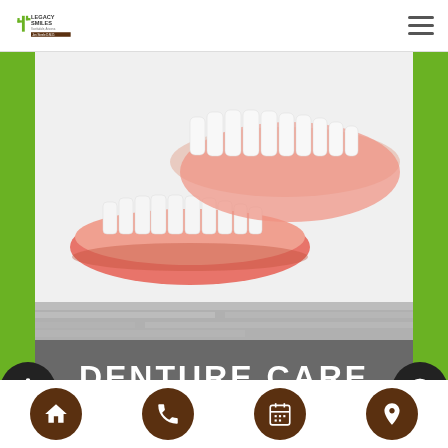[Figure (logo): Legacy Smiles dental practice logo with cactus icon]
[Figure (photo): Two pink denture sets (upper and lower) on white background]
[Figure (photo): Denture Care section banner with gray stone texture background and bold white text reading DENTURE CARE]
DENTURE CARE
[Figure (infographic): Bottom navigation bar with four dark brown circular icon buttons: home, phone, calendar, location pin]